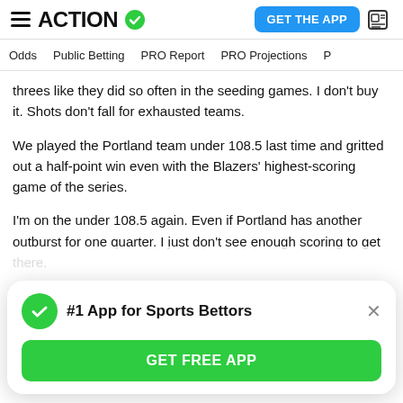ACTION
Odds  Public Betting  PRO Report  PRO Projections
threes like they did so often in the seeding games. I don't buy it. Shots don't fall for exhausted teams.
We played the Portland team under 108.5 last time and gritted out a half-point win even with the Blazers' highest-scoring game of the series.
I'm on the under 108.5 again. Even if Portland has another outburst for one quarter, I just don't see enough scoring to get there.
I'd play down to 107.
[Figure (screenshot): App download popup card with green checkmark circle, bold text '#1 App for Sports Bettors', close X button, and green 'GET FREE APP' button]